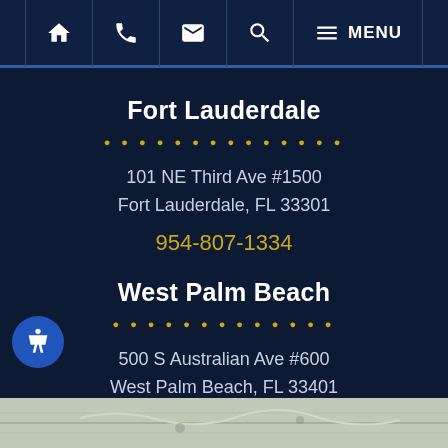Navigation bar with home, phone, email, search, and MENU icons
Fort Lauderdale
101 NE Third Ave #1500
Fort Lauderdale, FL 33301
954-807-1334
West Palm Beach
500 S Australian Ave #600
West Palm Beach, FL 33401
954-807-1334